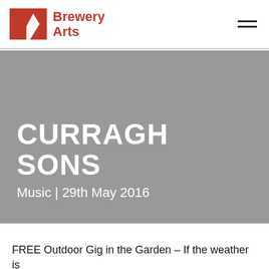[Figure (logo): Brewery Arts logo: red geometric B and triangle shapes with red text 'Brewery Arts']
CURRAGH SONS
Music | 29th May 2016
FREE Outdoor Gig in the Garden – If the weather is